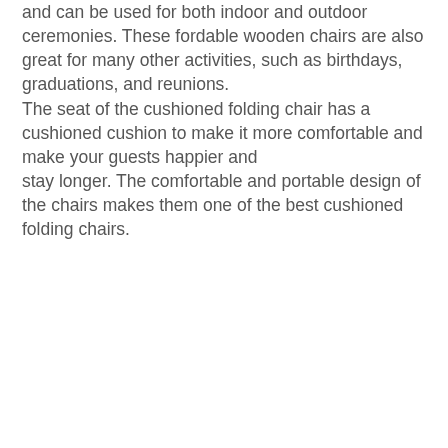and can be used for both indoor and outdoor ceremonies. These fordable wooden chairs are also great for many other activities, such as birthdays, graduations, and reunions.
The seat of the cushioned folding chair has a cushioned cushion to make it more comfortable and make your guests happier and
stay longer. The comfortable and portable design of the chairs makes them one of the best cushioned folding chairs.